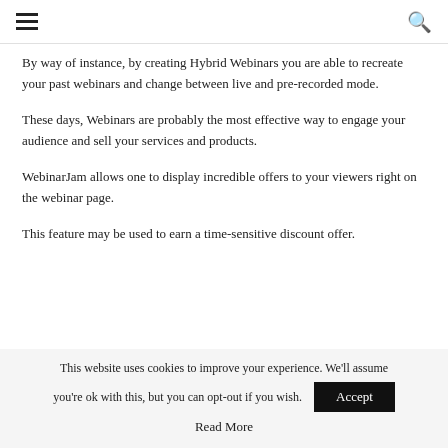≡  🔍
By way of instance, by creating Hybrid Webinars you are able to recreate your past webinars and change between live and pre-recorded mode.
These days, Webinars are probably the most effective way to engage your audience and sell your services and products.
WebinarJam allows one to display incredible offers to your viewers right on the webinar page.
This feature may be used to earn a time-sensitive discount offer.
This website uses cookies to improve your experience. We'll assume you're ok with this, but you can opt-out if you wish.  Accept
Read More